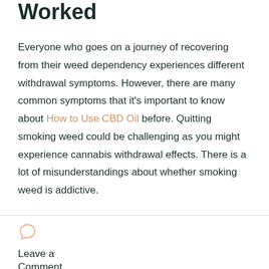Worked
Everyone who goes on a journey of recovering from their weed dependency experiences different withdrawal symptoms. However, there are many common symptoms that it's important to know about How to Use CBD Oil before. Quitting smoking weed could be challenging as you might experience cannabis withdrawal effects. There is a lot of misunderstandings about whether smoking weed is addictive.
Leave a Comment